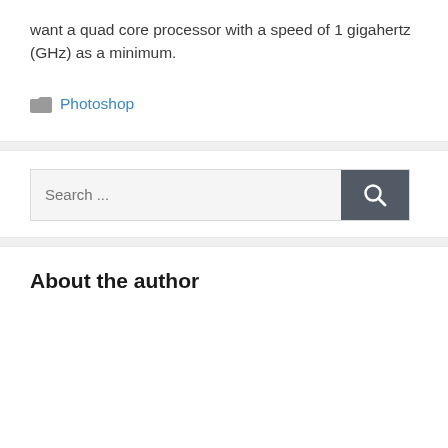want a quad core processor with a speed of 1 gigahertz (GHz) as a minimum.
Photoshop
[Figure (screenshot): Search bar with text field showing 'Search ...' placeholder and a dark gray button with a magnifying glass icon]
About the author